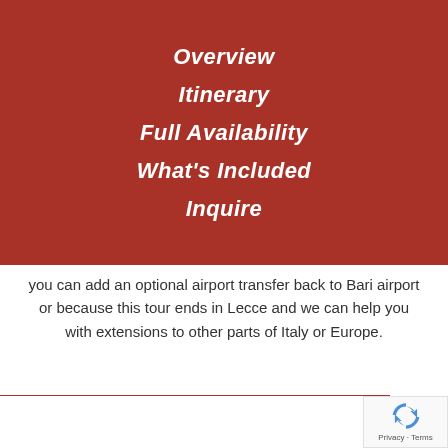Overview
Itinerary
Full Availability
What's Included
Inquire
you can add an optional airport transfer back to Bari airport or because this tour ends in Lecce and we can help you with extensions to other parts of Italy or Europe.